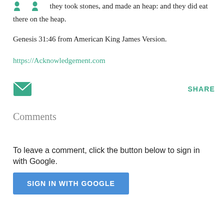they took stones, and made an heap: and they did eat there on the heap.
Genesis 31:46 from American King James Version.
https://Acknowledgement.com
[Figure (illustration): Two green person icons (silhouettes) and a green envelope/mail icon with a SHARE label to the right]
Comments
To leave a comment, click the button below to sign in with Google.
SIGN IN WITH GOOGLE